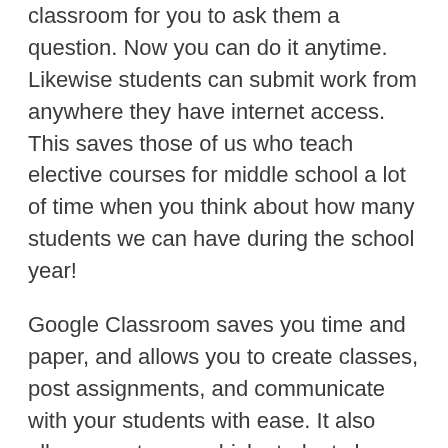classroom for you to ask them a question. Now you can do it anytime. Likewise students can submit work from anywhere they have internet access. This saves those of us who teach elective courses for middle school a lot of time when you think about how many students we can have during the school year!
Google Classroom saves you time and paper, and allows you to create classes, post assignments, and communicate with your students with ease. It also allows you to see which students have completed their assignments and you can provide direct, real-time feedback and grades. Google Classroom essentially puts all of your assignments, announcements, and student work right in